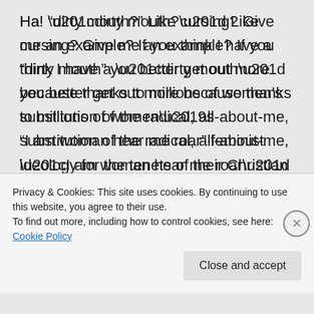Ha! “dirty mouth?” Like cursing? Give me an example? If you think I have a “dirty mouth” you better get out more because thanks to millions of women’s substitution of the radical, all-about-me, “I am woman hear me roar” feminist ideology for the tenets of their Christian faith, women of today not only have dirty mouths, everything else about them is dirty too.
Privacy & Cookies: This site uses cookies. By continuing to use this website, you agree to their use.
To find out more, including how to control cookies, see here: Cookie Policy